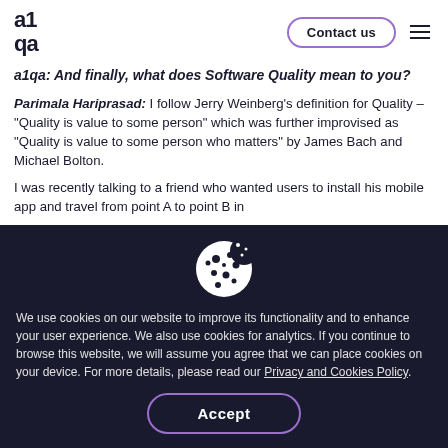a1qa | Contact us
a1qa: And finally, what does Software Quality mean to you?
Parimala Hariprasad: I follow Jerry Weinberg’s definition for Quality – “Quality is value to some person” which was further improvised as “Quality is value to some person who matters” by James Bach and Michael Bolton.
I was recently talking to a friend who wanted users to install his mobile app and travel from point A to point B in
We use cookies on our website to improve its functionality and to enhance your user experience. We also use cookies for analytics. If you continue to browse this website, we will assume you agree that we can place cookies on your device. For more details, please read our Privacy and Cookies Policy.
Accept